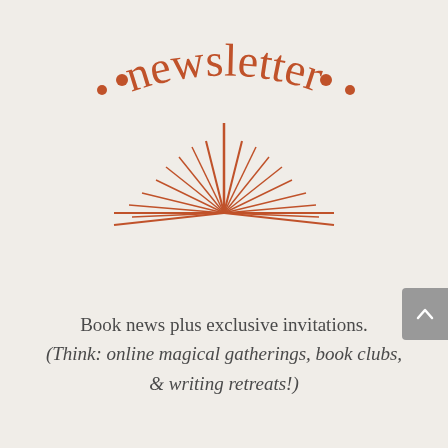.. newsletter ..
[Figure (illustration): Decorative sunburst/starburst illustration in terracotta/rust color, with radiating spiky lines emanating from a central point, resembling a sunrise or explosion motif]
Book news plus exclusive invitations.
(Think: online magical gatherings, book clubs,
& writing retreats!)